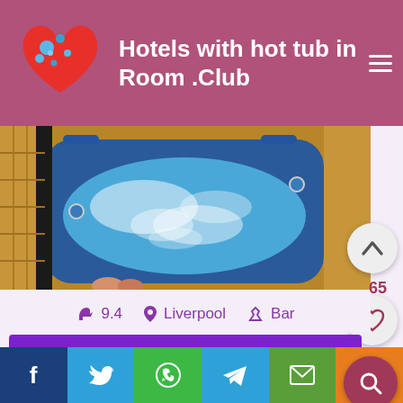Hotels with hot tub in Room .Club
[Figure (photo): Blue hot tub with bubbling water on a wooden deck with wicker surroundings]
9.4   Liverpool   Bar
More information & lowest price
Boasting a bar, terrace, and a cool hot tub, The Spellow Pad is situated in Liverpool and offers comfortable
↓ Share it before booking! ↓